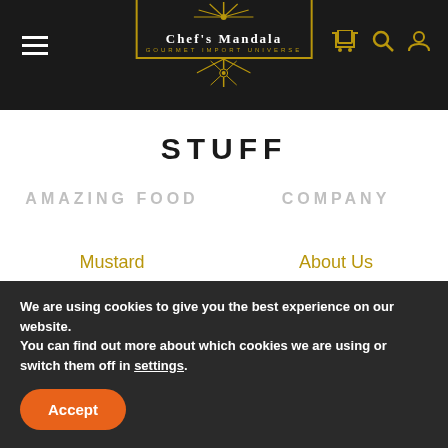Chef's Mandala — Gourmet Import Universe
STUFF
AMAZING FOOD
COMPANY
Mustard
Pasta
Pasta Sauce
Olive Oil
Vinegar
About Us
Buy Online
Contact
FAQ
Find a Store
We are using cookies to give you the best experience on our website.
You can find out more about which cookies we are using or switch them off in settings.
Accept